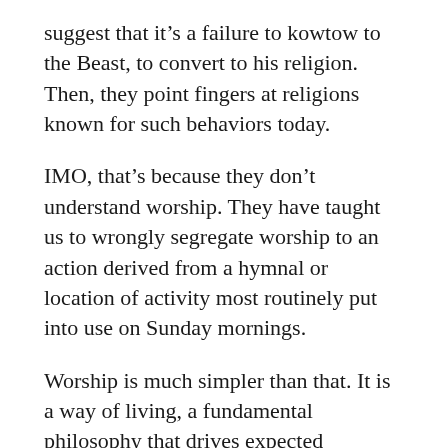suggest that it’s a failure to kowtow to the Beast, to convert to his religion. Then, they point fingers at religions known for such behaviors today.
IMO, that’s because they don’t understand worship. They have taught us to wrongly segregate worship to an action derived from a hymnal or location of activity most routinely put into use on Sunday mornings.
Worship is much simpler than that. It is a way of living, a fundamental philosophy that drives expected behavior.
but they mixed among the nations and